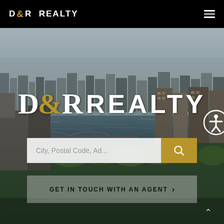D&R REALTY
[Figure (photo): Aerial cityscape photo showing Boston with the Charles River, bridges, city buildings, and green areas under a hazy sky]
D&R REALTY
City, Postal Code, Ad...
GET IN TOUCH WITH AN AGENT >